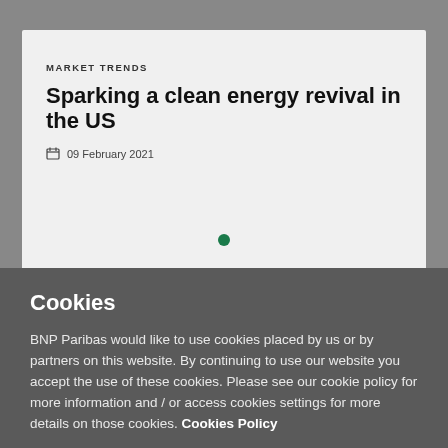MARKET TRENDS
Sparking a clean energy revival in the US
09 February 2021
Cookies
BNP Paribas would like to use cookies placed by us or by partners on this website. By continuing to use our website you accept the use of these cookies. Please see our cookie policy for more information and / or access cookies settings for more details on those cookies. Cookies Policy
Cookies Settings